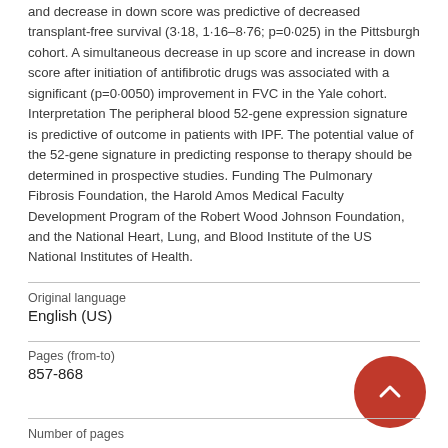and decrease in down score was predictive of decreased transplant-free survival (3·18, 1·16–8·76; p=0·025) in the Pittsburgh cohort. A simultaneous decrease in up score and increase in down score after initiation of antifibrotic drugs was associated with a significant (p=0·0050) improvement in FVC in the Yale cohort. Interpretation The peripheral blood 52-gene expression signature is predictive of outcome in patients with IPF. The potential value of the 52-gene signature in predicting response to therapy should be determined in prospective studies. Funding The Pulmonary Fibrosis Foundation, the Harold Amos Medical Faculty Development Program of the Robert Wood Johnson Foundation, and the National Heart, Lung, and Blood Institute of the US National Institutes of Health.
| Original language | English (US) |
| Pages (from-to) | 857-868 |
| Number of pages |  |